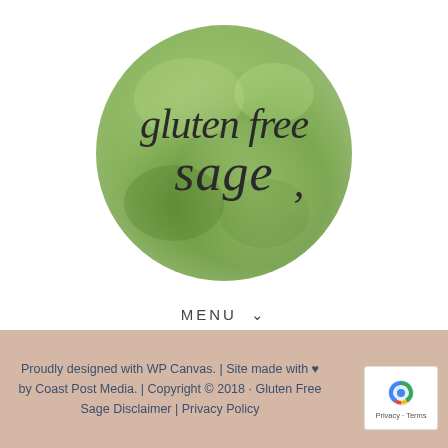[Figure (logo): Circular watercolor green logo with cursive script text reading 'gluten free sage']
MENU ∨
Proudly designed with WP Canvas. | Site made with ♥ by Coast Post Media. | Copyright © 2018 · Gluten Free Sage Disclaimer | Privacy Policy